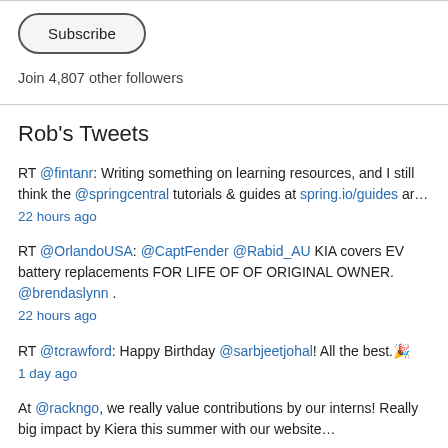[Figure (other): Subscribe button — rounded pill-shaped button with label 'Subscribe']
Join 4,807 other followers
Rob's Tweets
RT @fintanr: Writing something on learning resources, and I still think the @springcentral tutorials & guides at spring.io/guides ar…
22 hours ago
RT @OrlandoUSA: @CaptFender @Rabid_AU KIA covers EV battery replacements FOR LIFE OF OF ORIGINAL OWNER. @brendaslynn .
22 hours ago
RT @tcrawford: Happy Birthday @sarbjeetjohal! All the best.🎉
1 day ago
At @rackngo, we really value contributions by our interns! Really big impact by Kiera this summer with our website…